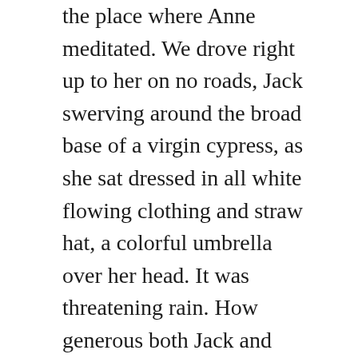the place where Anne meditated.  We drove right up to her on no roads, Jack swerving around the broad base of a virgin cypress, as she sat dressed in all white flowing clothing and straw hat, a colorful umbrella over her head.  It was threatening rain.  How generous both Jack and Anne were to take me to lunch and then to spend hours describing how it all came to be – their dream, wrought out of years of toil and shaky finances – living on grants and what they gleaned from their marine specimen service to research labs all over the country.
For months after I met Anne and Jack I had Anne's YouTube video – the Nature of Cancer –